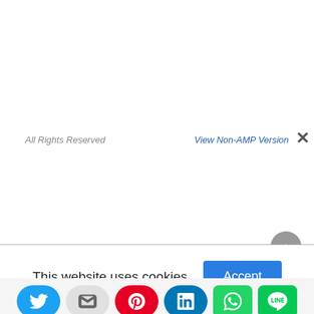All Rights Reserved
View Non-AMP Version
This website uses cookies.
Accept
[Figure (infographic): Social sharing bar with Twitter, Email, Pinterest, LinkedIn, WhatsApp, and LINE buttons]